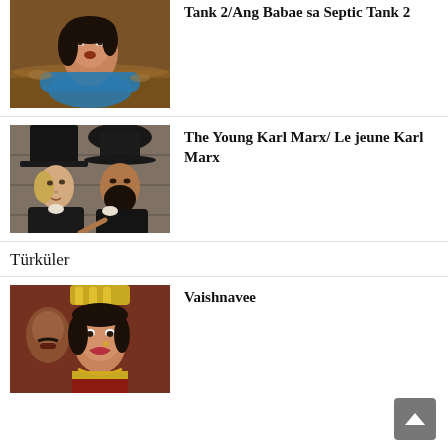[Figure (photo): Woman partially submerged in water, wearing blue outfit, wide-eyed expression]
Tank 2/Ang Babae sa Septic Tank 2
[Figure (photo): Two men in Victorian-era clothing and top hats, one pointing, period setting]
The Young Karl Marx/ Le jeune Karl Marx
Türküler
[Figure (photo): Woman in Indian traditional costume with gold jewelry and headdress, smiling; man visible behind her]
Vaishnavee